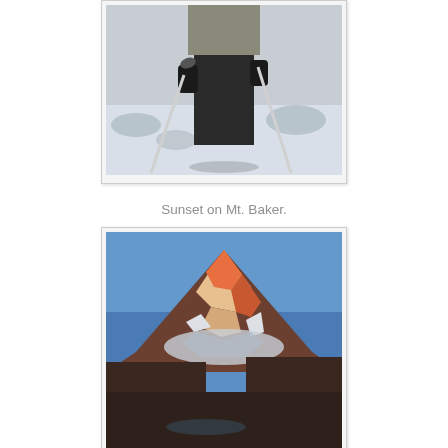[Figure (photo): A mountaineer/climber in dark winter gear holding trekking poles, standing on snow with icy terrain in the background. Photo is partially cropped showing from mid-torso down.]
Sunset on Mt. Baker.
[Figure (photo): Sunset on Mt. Baker — a snow-capped volcanic peak glowing orange-red in sunset light, with a rocky glacier and a small alpine lake or pool visible in the foreground. Clear blue sky above.]